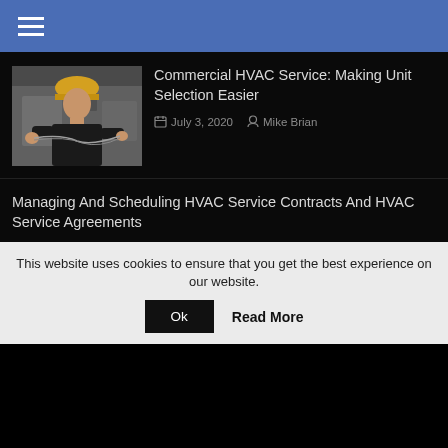☰
Commercial HVAC Service: Making Unit Selection Easier
July 3, 2020   Mike Brian
Managing And Scheduling HVAC Service Contracts And HVAC Service Agreements
July 3, 2020   Mike Brian
HVAC Design Calculations – For The Homeowner, Builder, Architect, And The Handy Do-It-Yourselfer
This website uses cookies to ensure that you get the best experience on our website.  Ok  Read More